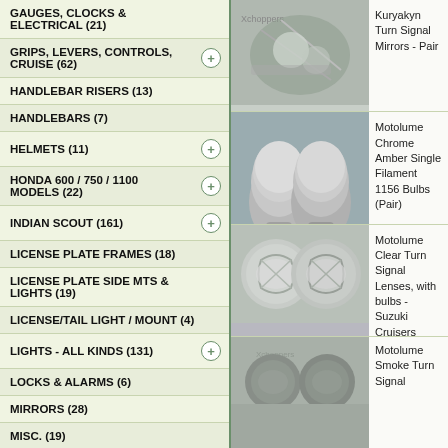GAUGES, CLOCKS & ELECTRICAL (21)
GRIPS, LEVERS, CONTROLS, CRUISE (62)
HANDLEBAR RISERS (13)
HANDLEBARS (7)
HELMETS (11)
HONDA 600 / 750 / 1100 MODELS (22)
INDIAN SCOUT (161)
LICENSE PLATE FRAMES (18)
LICENSE PLATE SIDE MTS & LIGHTS (19)
LICENSE/TAIL LIGHT / MOUNT (4)
LIGHTS - ALL KINDS (131)
LOCKS & ALARMS (6)
MIRRORS (28)
MISC. (19)
OIL FILTERS (5)
PERFORMANCE & MAINTENANCE PARTS (9)
SADDLEBAGS, MOUNTS & MISC.
[Figure (photo): Kuryakyn Turn Signal Mirrors - Pair, chrome motorcycle mirrors on a bike]
Kuryakyn Turn Signal Mirrors - Pair
[Figure (photo): Motolume Chrome Amber Single Filament 1156 Bulbs (Pair), two silver chrome bulbs]
Motolume Chrome Amber Single Filament 1156 Bulbs (Pair)
[Figure (photo): Motolume Clear Turn Signal Lenses with bulbs - Suzuki Cruisers, two round chrome lenses]
Motolume Clear Turn Signal Lenses, with bulbs - Suzuki Cruisers
[Figure (photo): Motolume Smoke Turn Signal partial view]
Motolume Smoke Turn Signal